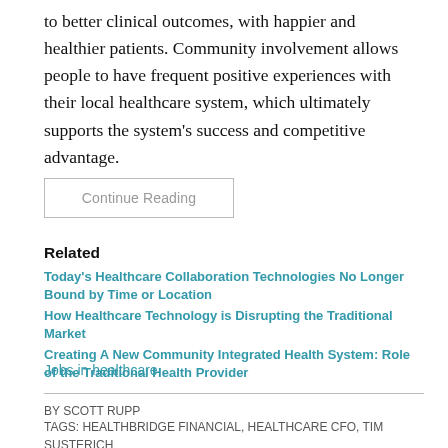to better clinical outcomes, with happier and healthier patients. Community involvement allows people to have frequent positive experiences with their local healthcare system, which ultimately supports the system's success and competitive advantage.
Continue Reading
Related
Today's Healthcare Collaboration Technologies No Longer Bound by Time or Location
How Healthcare Technology is Disrupting the Traditional Market
Creating A New Community Integrated Health System: Role of the Traditional Health Provider
Jobs in healthcare
BY SCOTT RUPP
TAGS: HEALTHBRIDGE FINANCIAL, HEALTHCARE CFO, TIM SUSTERICH